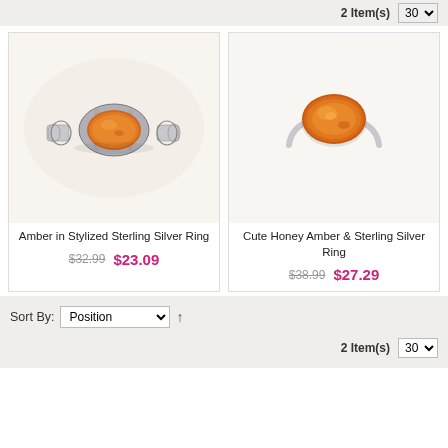2 Item(s)  30
[Figure (photo): Amber in Stylized Sterling Silver Ring - ornate filigree silver ring with oval amber gemstone on white background]
Amber in Stylized Sterling Silver Ring
$32.99  $23.09
[Figure (photo): Cute Honey Amber & Sterling Silver Ring - simple silver ring with large oval honey amber gemstone on white background]
Cute Honey Amber & Sterling Silver Ring
$38.99  $27.29
Sort By: Position  ↑
2 Item(s)  30